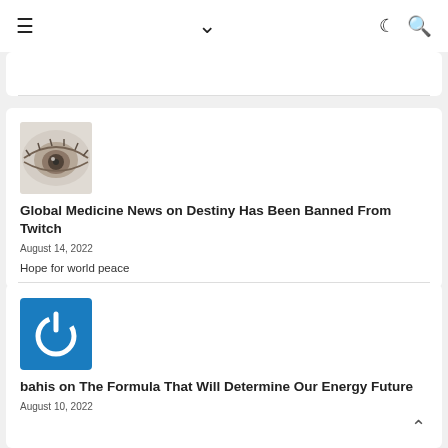≡  ∨  ☾  🔍
[Figure (photo): Close-up black and white photo of a human eye]
Global Medicine News on Destiny Has Been Banned From Twitch
August 14, 2022
Hope for world peace
[Figure (logo): Blue square with white power button icon]
bahis on The Formula That Will Determine Our Energy Future
August 10, 2022